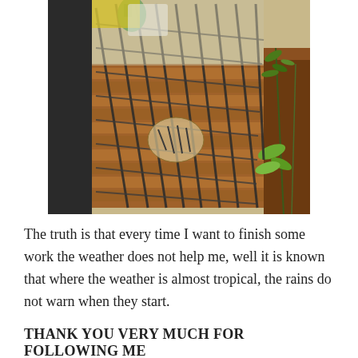[Figure (photo): Outdoor photo showing a tipped-over metal grid/mesh structure lying on brick-paved ground, with plants and soil visible on the right side. Green bottle visible at top left, and a small animal or object caught in the mesh.]
The truth is that every time I want to finish some work the weather does not help me, well it is known that where the weather is almost tropical, the rains do not warn when they start.
THANK YOU VERY MUCH FOR FOLLOWING ME